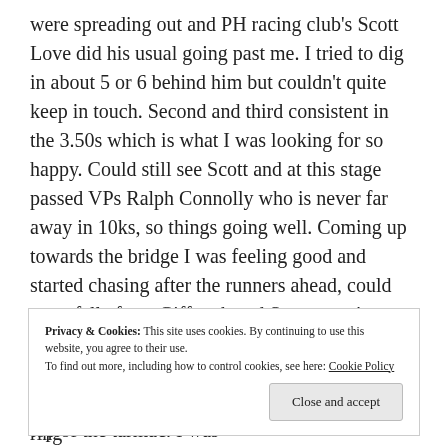were spreading out and PH racing club's Scott Love did his usual going past me. I tried to dig in about 5 or 6 behind him but couldn't quite keep in touch. Second and third consistent in the 3.50s which is what I was looking for so happy. Could still see Scott and at this stage passed VPs Ralph Connolly who is never far away in 10ks, so things going well. Coming up towards the bridge I was feeling good and started chasing after the runners ahead, could see a fella from Giffnock and Scott wasn't getting any further away. Ran hard across the bridge and was a sharp turn to the right as we went down the gravel path rather than up to the top of the tarmac. I was
Privacy & Cookies: This site uses cookies. By continuing to use this website, you agree to their use.
To find out more, including how to control cookies, see here: Cookie Policy
Close and accept
inside my glove and thought it was my wedding ring